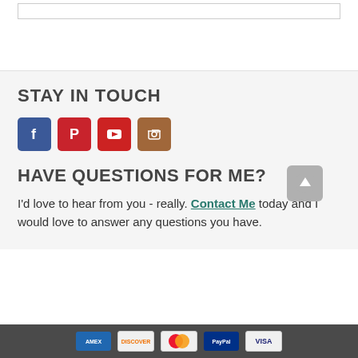STAY IN TOUCH
[Figure (other): Social media icons: Facebook (blue), Pinterest (red), YouTube (red), Instagram (brown)]
HAVE QUESTIONS FOR ME?
I'd love to hear from you - really. Contact Me today and I would love to answer any questions you have.
[Figure (other): Scroll to top button with upward arrow icon]
Payment icons: American Express, Discover, Mastercard, PayPal, Visa